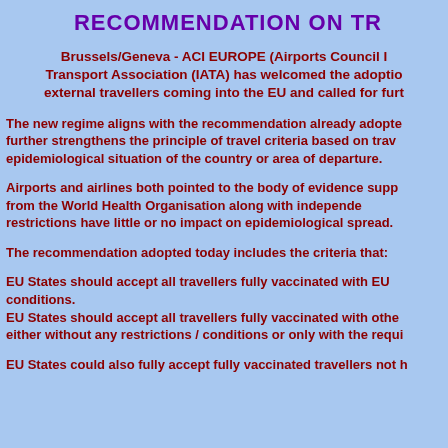RECOMMENDATION ON TR
Brussels/Geneva - ACI EUROPE (Airports Council I... Transport Association (IATA) has welcomed the adoptio... external travellers coming into the EU and called for furt...
The new regime aligns with the recommendation already adopte... further strengthens the principle of travel criteria based on trav... epidemiological situation of the country or area of departure.
Airports and airlines both pointed to the body of evidence supp... from the World Health Organisation along with independe... restrictions have little or no impact on epidemiological spread.
The recommendation adopted today includes the criteria that:
EU States should accept all travellers fully vaccinated with EU conditions.
EU States should accept all travellers fully vaccinated with othe... either without any restrictions / conditions or only with the requi...
EU States could also fully accept fully vaccinated travellers not h...